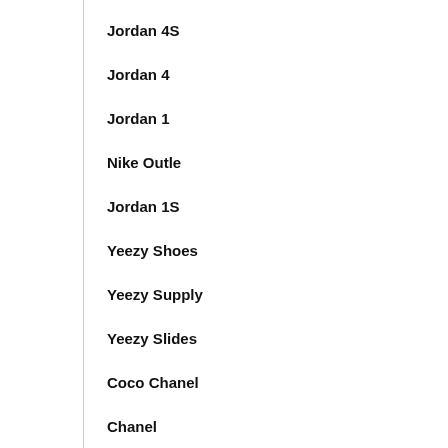Jordan 4S
Jordan 4
Jordan 1
Nike Outle
Jordan 1S
Yeezy Shoes
Yeezy Supply
Yeezy Slides
Coco Chanel
Chanel
Chanel Handbags
Coco Chanel